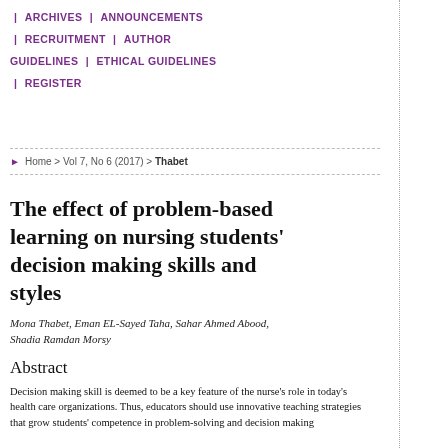ARCHIVES | ANNOUNCEMENTS | RECRUITMENT | AUTHOR GUIDELINES | ETHICAL GUIDELINES | REGISTER
Home > Vol 7, No 6 (2017) > Thabet
The effect of problem-based learning on nursing students' decision making skills and styles
Mona Thabet, Eman EL-Sayed Taha, Sahar Ahmed Abood, Shadia Ramdan Morsy
Abstract
Decision making skill is deemed to be a key feature of the nurse's role in today's health care organizations. Thus, educators should use innovative teaching strategies that grow students' competence in problem-solving and decision making